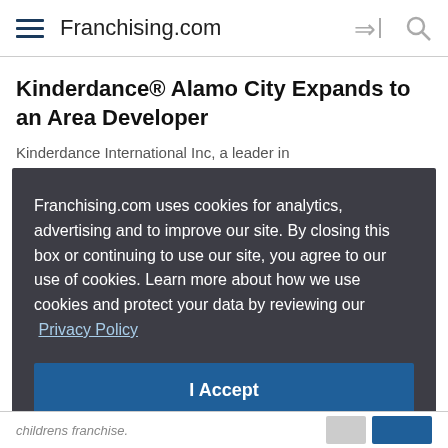Franchising.com
Kinderdance® Alamo City Expands to an Area Developer
Kinderdance International Inc, a leader in
Franchising.com uses cookies for analytics, advertising and to improve our site. By closing this box or continuing to use our site, you agree to our use of cookies. Learn more about how we use cookies and protect your data by reviewing our Privacy Policy
I Accept
childrens franchise.